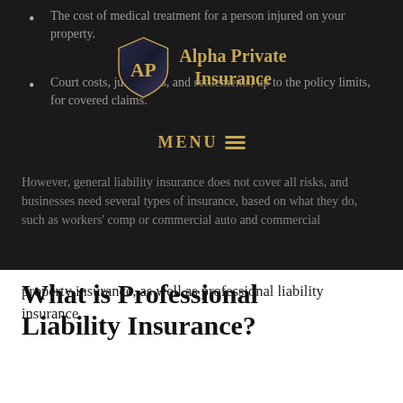The cost of medical treatment for a person injured on your property.
Court costs, judgments, and settlements, up to the policy limits, for covered claims.
[Figure (logo): Alpha Private Insurance shield logo with gold 'AP' initials and company name]
[Figure (other): MENU navigation bar with hamburger icon lines]
However, general liability insurance does not cover all risks, and businesses need several types of insurance, based on what they do, such as workers' comp or commercial auto and commercial property insurance, as well as professional liability insurance.
What is Professional Liability Insurance?